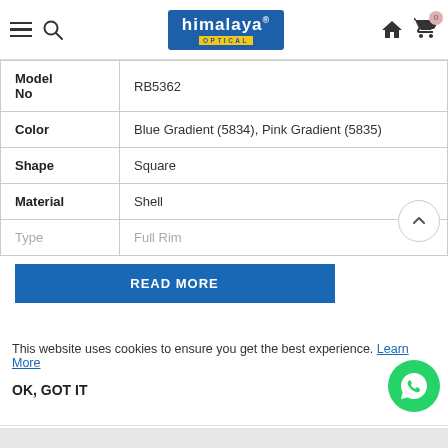Himalaya Optical – navigation bar with logo, menu, search, home, cart icons
| Attribute | Value |
| --- | --- |
| Model No | RB5362 |
| Color | Blue Gradient (5834), Pink Gradient (5835) |
| Shape | Square |
| Material | Shell |
| Type | Full Rim |
This website uses cookies to ensure you get the best experience. Learn More
OK, GOT IT